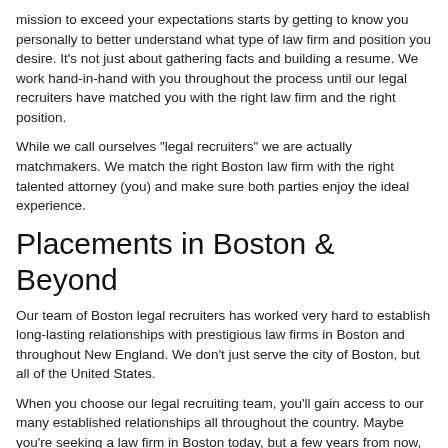mission to exceed your expectations starts by getting to know you personally to better understand what type of law firm and position you desire. It's not just about gathering facts and building a resume. We work hand-in-hand with you throughout the process until our legal recruiters have matched you with the right law firm and the right position.
While we call ourselves "legal recruiters" we are actually matchmakers. We match the right Boston law firm with the right talented attorney (you) and make sure both parties enjoy the ideal experience.
Placements in Boston & Beyond
Our team of Boston legal recruiters has worked very hard to establish long-lasting relationships with prestigious law firms in Boston and throughout New England. We don't just serve the city of Boston, but all of the United States.
When you choose our legal recruiting team, you'll gain access to our many established relationships all throughout the country. Maybe you're seeking a law firm in Boston today, but a few years from now, you're ready to move to another major city. Our team will be here to help you find the right fit in any major city.